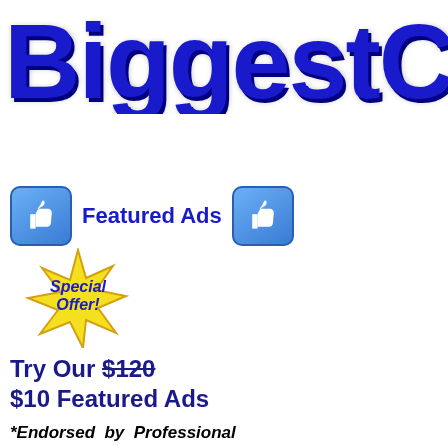BiggestCla
Home / USA / Topeka /
[Figure (logo): Two blue thumbs-up icons flanking 'Featured Ads' label]
[Figure (illustration): Yellow starburst Special Offer badge]
Try Our $120 $10 Featured Ads
*Endorsed by Professional Webmasters
*applies to Featured Ads only terms & conditions apply
Bigger,
[Figure (illustration): Blue checkbox with checkmark]
BIGGER Media Expos
BiggestClassifieds.com has just s and half decade, We have strived top ranking best American local advertisers and visitors for your increasing popularity and high